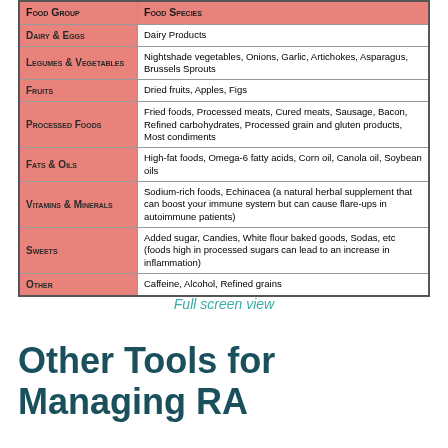| FOOD GROUP | FOOD SPECIES |
| --- | --- |
| DAIRY & EGGS | Dairy Products |
| LEGUMES & VEGETABLES | Nightshade vegetables, Onions, Garlic, Artichokes, Asparagus, Brussels Sprouts |
| FRUITS | Dried fruits, Apples, Figs |
| PROCESSED FOODS | Fried foods, Processed meats, Cured meats, Sausage, Bacon, Refined carbohydrates, Processed grain and gluten products, Most condiments |
| FATS & OILS | High-fat foods, Omega-6 fatty acids, Corn oil, Canola oil, Soybean oils |
| VITAMINS & MINERALS | Sodium-rich foods, Echinacea (a natural herbal supplement that can boost your immune system but can cause flare-ups in autoimmune patients) |
| SWEETS | Added sugar, Candies, White flour baked goods, Sodas, etc (foods high in processed sugars can lead to an increase in inflammation) |
| OTHER | Caffeine, Alcohol, Refined grains |
Full screen view
Other Tools for Managing RA